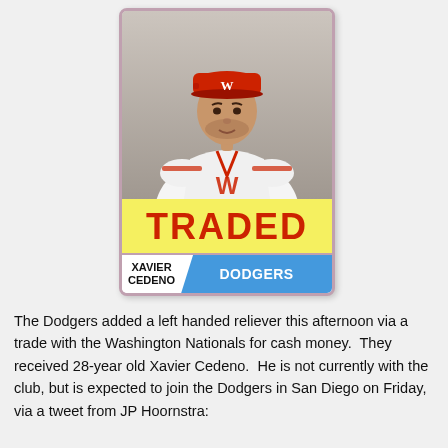[Figure (illustration): Baseball card style image of Xavier Cedeno wearing Washington Nationals uniform with a red cap. The card has a yellow 'TRADED' banner across the middle, player name 'XAVIER CEDENO' on the lower left and 'DODGERS' team tab in blue on the lower right.]
The Dodgers added a left handed reliever this afternoon via a trade with the Washington Nationals for cash money. They received 28-year old Xavier Cedeno. He is not currently with the club, but is expected to join the Dodgers in San Diego on Friday, via a tweet from JP Hoornstra: